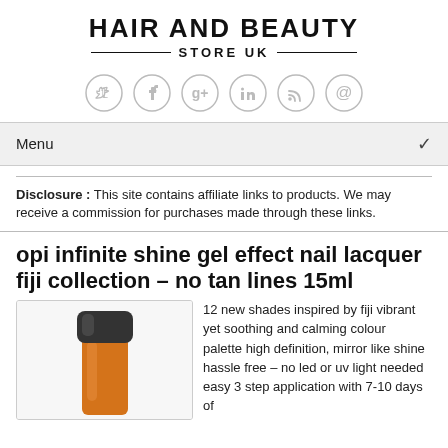HAIR AND BEAUTY STORE UK
[Figure (infographic): Social media icons row: Twitter, Facebook, Google+, LinkedIn, RSS, Email]
Menu
Disclosure : This site contains affiliate links to products. We may receive a commission for purchases made through these links.
opi infinite shine gel effect nail lacquer fiji collection – no tan lines 15ml
[Figure (photo): Nail polish bottle with dark cap and orange/coral coloured lacquer]
12 new shades inspired by fiji vibrant yet soothing and calming colour palette high definition, mirror like shine hassle free – no led or uv light needed easy 3 step application with 7-10 days of